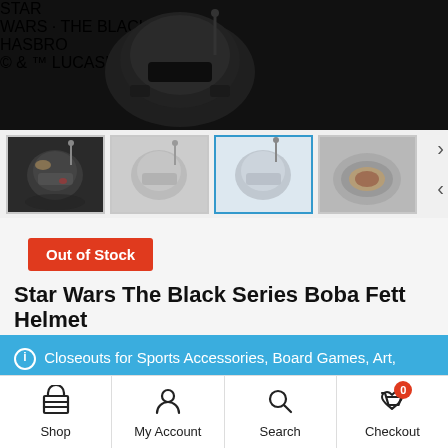[Figure (screenshot): Hero product image: Boba Fett helmet on dark background with Star Wars The Black Series logo top right and Hasbro copyright bottom left]
[Figure (screenshot): Thumbnail gallery row showing 4 Boba Fett helmet views from different angles, third one highlighted/selected]
Out of Stock
Star Wars The Black Series Boba Fett Helmet
ⓘ Closeouts for Sports Accessories, Board Games, Art, Coolers, and Drinkware. GET 5% OFF Most Categories= COUPON CODE – PRIZE5OFF1
Dismiss
Shop  My Account  Search  Checkout